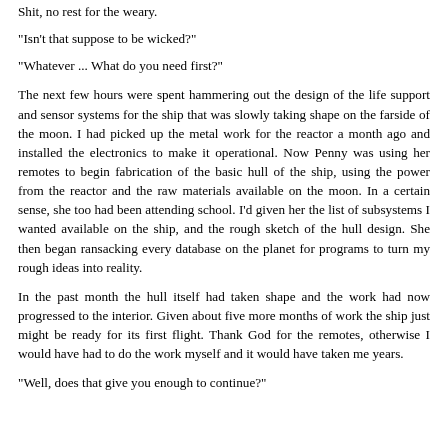Shit, no rest for the weary.
"Isn't that suppose to be wicked?"
"Whatever ... What do you need first?"
The next few hours were spent hammering out the design of the life support and sensor systems for the ship that was slowly taking shape on the farside of the moon. I had picked up the metal work for the reactor a month ago and installed the electronics to make it operational. Now Penny was using her remotes to begin fabrication of the basic hull of the ship, using the power from the reactor and the raw materials available on the moon. In a certain sense, she too had been attending school. I'd given her the list of subsystems I wanted available on the ship, and the rough sketch of the hull design. She then began ransacking every database on the planet for programs to turn my rough ideas into reality.
In the past month the hull itself had taken shape and the work had now progressed to the interior. Given about five more months of work the ship just might be ready for its first flight. Thank God for the remotes, otherwise I would have had to do the work myself and it would have taken me years.
"Well, does that give you enough to continue?"